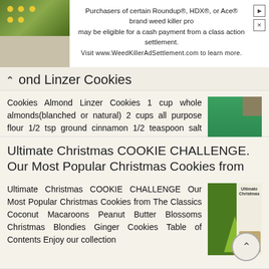[Figure (screenshot): Advertisement banner for WeedKillerAdSettlement.com with plant image on left and text about Roundup, HDX, Ace brand weed killer class action settlement]
Purchasers of certain Roundup®, HDX®, or Ace® brand weed killer products may be eligible for a cash payment from a class action settlement. Visit www.WeedKillerAdSettlement.com to learn more.
mond Linzer Cookies
Cookies Almond Linzer Cookies 1 cup whole almonds(blanched or natural) 2 cups all purpose flour 1/2 tsp ground cinnamon 1/2 teaspoon salt Zest of one small lemon 1 cup unsalted butter, room temperature
More information →
Ultimate Christmas COOKIE CHALLENGE. Our Most Popular Christmas Cookies from
Ultimate Christmas COOKIE CHALLENGE Our Most Popular Christmas Cookies from The Classics Coconut Macaroons Peanut Butter Blossoms Christmas Blondies Ginger Cookies Table of Contents Enjoy our collection